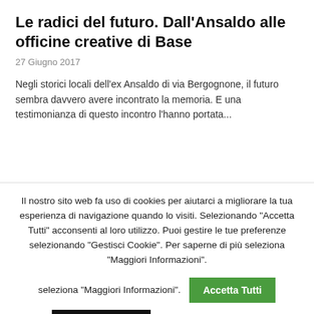Le radici del futuro. Dall'Ansaldo alle officine creative di Base
27 Giugno 2017
Negli storici locali dell'ex Ansaldo di via Bergognone, il futuro sembra davvero avere incontrato la memoria. E una testimonianza di questo incontro l'hanno portata...
Il nostro sito web fa uso di cookies per aiutarci a migliorare la tua esperienza di navigazione quando lo visiti. Selezionando "Accetta Tutti" acconsenti al loro utilizzo. Puoi gestire le tue preferenze selezionando "Gestisci Cookie". Per saperne di più seleziona "Maggiori Informazioni".